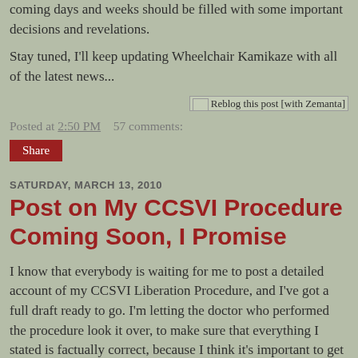coming days and weeks should be filled with some important decisions and revelations.
Stay tuned, I'll keep updating Wheelchair Kamikaze with all of the latest news...
[Figure (other): Reblog this post [with Zemanta] button/link image]
Posted at 2:50 PM    57 comments:
Share
SATURDAY, MARCH 13, 2010
Post on My CCSVI Procedure Coming Soon, I Promise
I know that everybody is waiting for me to post a detailed account of my CCSVI Liberation Procedure, and I've got a full draft ready to go. I'm letting the doctor who performed the procedure look it over, to make sure that everything I stated is factually correct, because I think it's important to get it right.